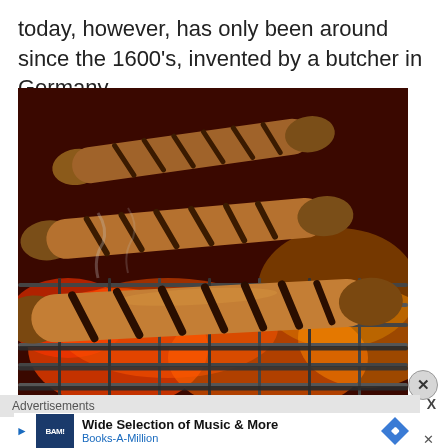today, however, has only been around since the 1600’s, invented by a butcher in Germany.
[Figure (photo): Three grilled sausages on a barbecue grill grate over hot coals, showing grill marks on the browned sausages]
Advertisements
Wide Selection of Music & More Books-A-Million